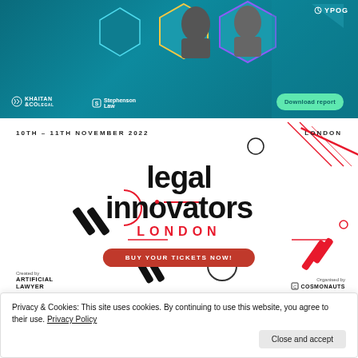[Figure (photo): Banner advertisement with dark teal background showing two professional headshots in hexagonal frames, logos for Khaitan & Co, Stephenson Law, YPOG, and a green 'Download report' button]
[Figure (infographic): Legal Innovators London event advertisement. Text: 10TH - 11TH NOVEMBER 2022, LONDON. Large bold text: legal innovators LONDON. Red button: BUY YOUR TICKETS NOW! Created by ARTIFICIAL LAWYER. Organised by COSMONAUTS. Decorative geometric shapes in red and black.]
Privacy & Cookies: This site uses cookies. By continuing to use this website, you agree to their use. Privacy Policy
Close and accept